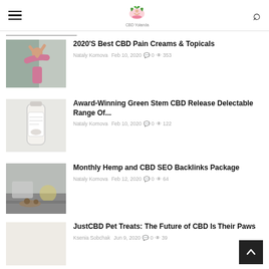CBD Yolanda — navigation header with hamburger menu, logo, and search icon
2020'S Best CBD Pain Creams & Topicals — Nataly Komova  Feb 10, 2020  0  353
Award-Winning Green Stem CBD Release Delectable Range Of... — Nataly Komova  Feb 10, 2020  0  122
Monthly Hemp and CBD SEO Backlinks Package — Nataly Komova  Feb 12, 2020  0  64
JustCBD Pet Treats: The Future of CBD Is Their Paws — Ksenia Sobchak  Jun 9, 2020  0  39